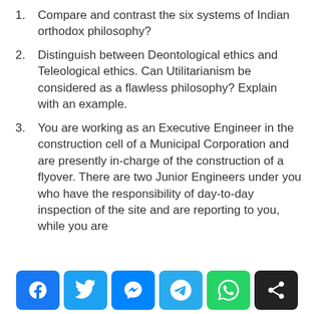Compare and contrast the six systems of Indian orthodox philosophy?
Distinguish between Deontological ethics and Teleological ethics. Can Utilitarianism be considered as a flawless philosophy? Explain with an example.
You are working as an Executive Engineer in the construction cell of a Municipal Corporation and are presently in-charge of the construction of a flyover. There are two Junior Engineers under you who have the responsibility of day-to-day inspection of the site and are reporting to you, while you are